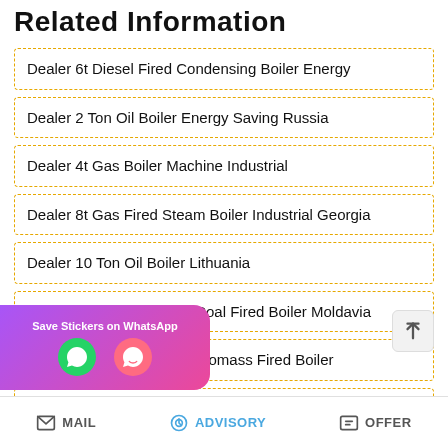Related Information
Dealer 6t Diesel Fired Condensing Boiler Energy
Dealer 2 Ton Oil Boiler Energy Saving Russia
Dealer 4t Gas Boiler Machine Industrial
Dealer 8t Gas Fired Steam Boiler Industrial Georgia
Dealer 10 Ton Oil Boiler Lithuania
Dealer High Efficiency 4t Coal Fired Boiler Moldavia
Dealer High Efficiency 2t Biomass Fired Boiler
…g 1t Hot Water Boiler Estonia
MAIL   ADVISORY   OFFER